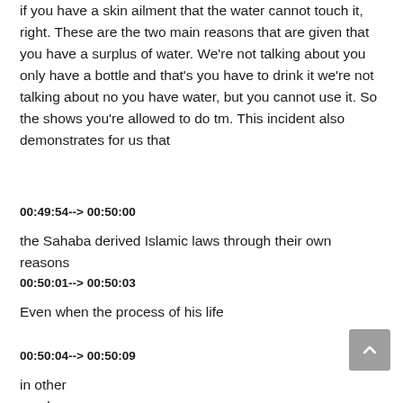if you have a skin ailment that the water cannot touch it, right. These are the two main reasons that are given that you have a surplus of water. We're not talking about you only have a bottle and that's you have to drink it we're not talking about no you have water, but you cannot use it. So the shows you're allowed to do tm. This incident also demonstrates for us that
00:49:54--> 00:50:00
the Sahaba derived Islamic laws through their own reasons
00:50:01--> 00:50:03
Even when the process of his life
00:50:04--> 00:50:09
in other words, they did he had, even when the process of his life